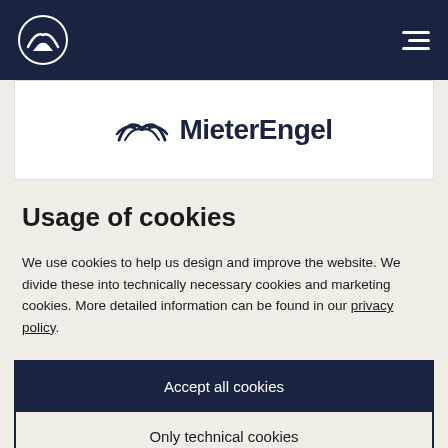Navigation bar with MieterEngel logo and hamburger menu
[Figure (logo): MieterEngel logo with wing icon and wordmark 'MieterEngel']
Usage of cookies
We use cookies to help us design and improve the website. We divide these into technically necessary cookies and marketing cookies. More detailed information can be found in our privacy policy.
Accept all cookies
Only technical cookies